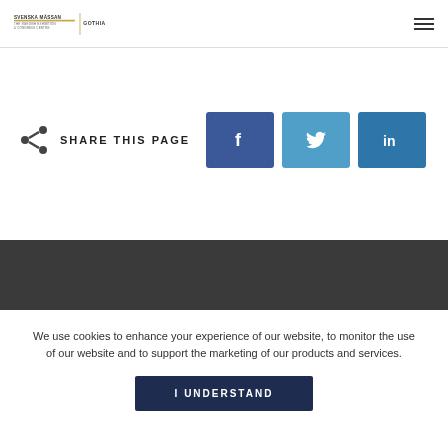Svenska Mässan Gothia Towers — navigation header with logo and hamburger menu
SHARE THIS PAGE
[Figure (logo): Facebook share button (blue square with white f)]
[Figure (logo): Twitter share button (blue square with white bird)]
[Figure (logo): LinkedIn share button (dark blue square with white in)]
We use cookies to enhance your experience of our website, to monitor the use of our website and to support the marketing of our products and services.
I UNDERSTAND